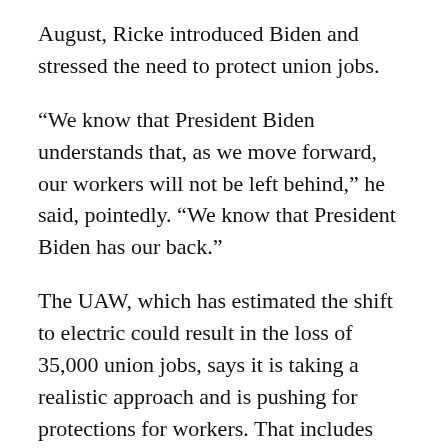August, Ricke introduced Biden and stressed the need to protect union jobs.
“We know that President Biden understands that, as we move forward, our workers will not be left behind,” he said, pointedly. “We know that President Biden has our back.”
The UAW, which has estimated the shift to electric could result in the loss of 35,000 union jobs, says it is taking a realistic approach and is pushing for protections for workers. That includes commitments that jobs be located in the US at comparable wages and benefits.